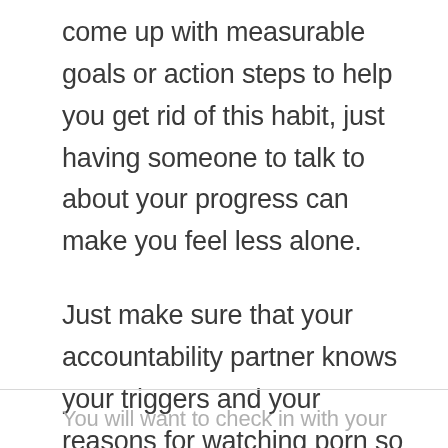come up with measurable goals or action steps to help you get rid of this habit, just having someone to talk to about your progress can make you feel less alone.
Just make sure that your accountability partner knows your triggers and your reasons for watching porn so they can help you address and conquer them.
You will want to check in with your